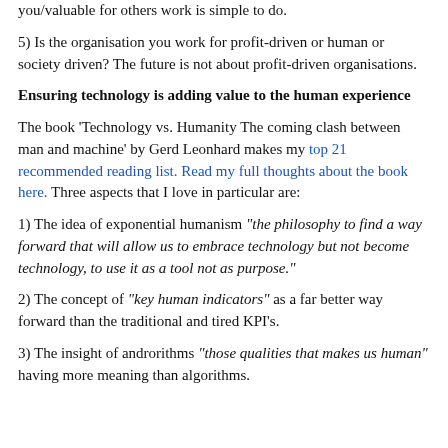you/valuable for others work is simple to do.
5) Is the organisation you work for profit-driven or human or society driven? The future is not about profit-driven organisations.
Ensuring technology is adding value to the human experience
The book 'Technology vs. Humanity The coming clash between man and machine' by Gerd Leonhard makes my top 21 recommended reading list. Read my full thoughts about the book here. Three aspects that I love in particular are:
1) The idea of exponential humanism "the philosophy to find a way forward that will allow us to embrace technology but not become technology, to use it as a tool not as purpose."
2) The concept of "key human indicators" as a far better way forward than the traditional and tired KPI's.
3) The insight of androrithms "those qualities that makes us human" having more meaning than algorithms.